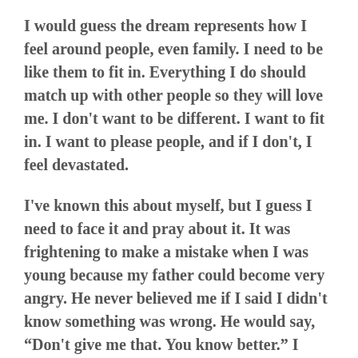I would guess the dream represents how I feel around people, even family. I need to be like them to fit in. Everything I do should match up with other people so they will love me. I don't want to be different. I want to fit in. I want to please people, and if I don't, I feel devastated.
I've known this about myself, but I guess I need to face it and pray about it. It was frightening to make a mistake when I was young because my father could become very angry. He never believed me if I said I didn't know something was wrong. He would say, “Don't give me that. You know better.” I didn't really. He always thought I was lying about things and when I was a teen he called me a slut. I had not had sex with